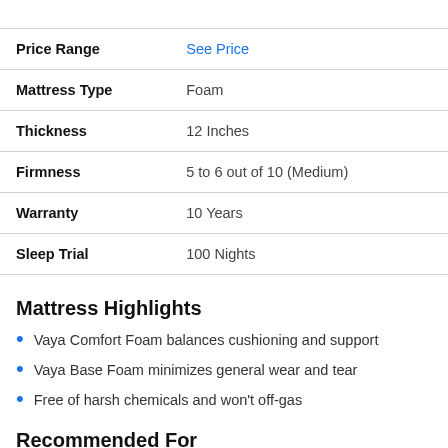| Attribute | Value |
| --- | --- |
| Price Range | See Price |
| Mattress Type | Foam |
| Thickness | 12 Inches |
| Firmness | 5 to 6 out of 10 (Medium) |
| Warranty | 10 Years |
| Sleep Trial | 100 Nights |
Mattress Highlights
Vaya Comfort Foam balances cushioning and support
Vaya Base Foam minimizes general wear and tear
Free of harsh chemicals and won't off-gas
Recommended For